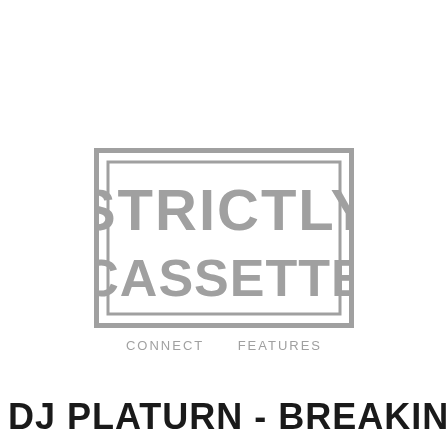[Figure (logo): Strictly Cassette logo: grey bold text 'STRICTLY CASSETTE' inside a grey rectangular border on white background]
CONNECT    FEATURES
DJ PLATURN - BREAKING TH